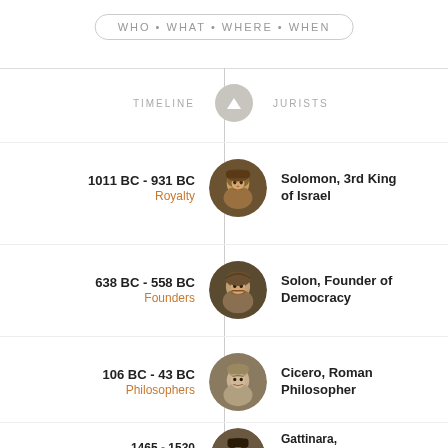WHO • WHAT • WHERE • WHEN
TIMELINE
JURISTS
1011 BC - 931 BC
Royalty
Solomon, 3rd King of Israel
638 BC - 558 BC
Founders
Solon, Founder of Democracy
106 BC - 43 BC
Philosophers
Cicero, Roman Philosopher
1465 - 1530
Christians
Gattinara, Chancellor of Charles V